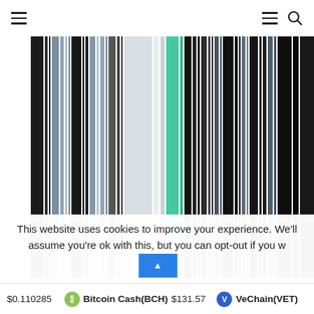Navigation bar with hamburger menu and search icon
[Figure (illustration): Abstract colorful vertical stripes in shades of black, gray, teal/green, and white arranged side by side]
This website uses cookies to improve your experience. We'll assume you're ok with this, but you can opt-out if you w[ish]
$0.110285  Bitcoin Cash(BCH) $131.57  VeChain(VET)